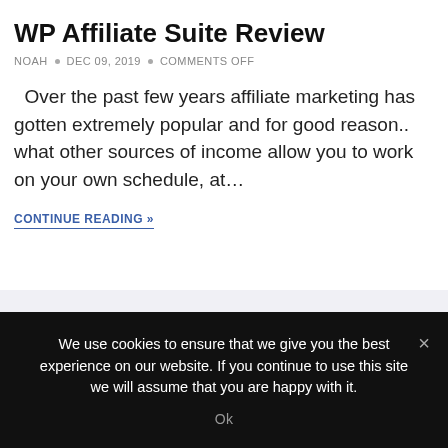WP Affiliate Suite Review
NOAH • DEC 09, 2019 • COMMENTS OFF
Over the past few years affiliate marketing has gotten extremely popular and for good reason.. what other sources of income allow you to work on your own schedule, at…
CONTINUE READING »
FOLLOW US
Stay updated via social channels
We use cookies to ensure that we give you the best experience on our website. If you continue to use this site we will assume that you are happy with it.
Ok